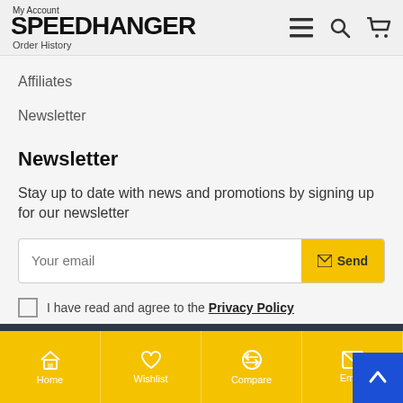My Account
SPEEDHANGER
Order History
Affiliates
Newsletter
Newsletter
Stay up to date with news and promotions by signing up for our newsletter
Your email [Send button]
I have read and agree to the Privacy Policy
Home | Wishlist | Compare | Email